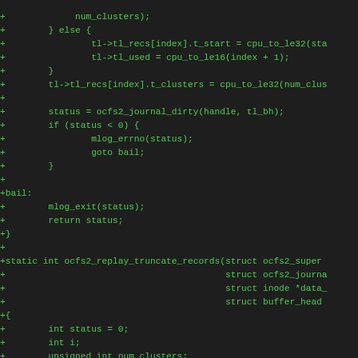[Figure (other): Source code diff snippet in green monospace font on dark background, showing C code for ocfs2 filesystem truncation log replay functions]